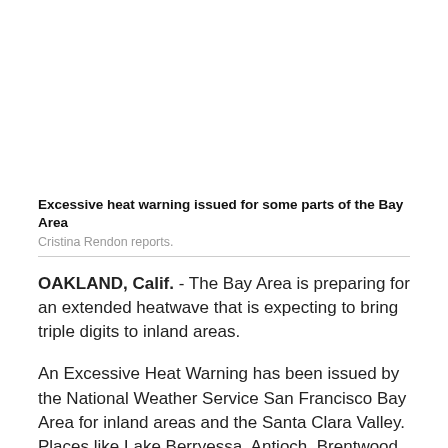Excessive heat warning issued for some parts of the Bay Area
Cristina Rendon reports.
OAKLAND, Calif. - The Bay Area is preparing for an extended heatwave that is expecting to bring triple digits to inland areas.
An Excessive Heat Warning has been issued by the National Weather Service San Francisco Bay Area for inland areas and the Santa Clara Valley. Places like Lake Berryessa, Antioch, Brentwood, Livermore, San Jose and Gilroy are expected to see triple digits and some